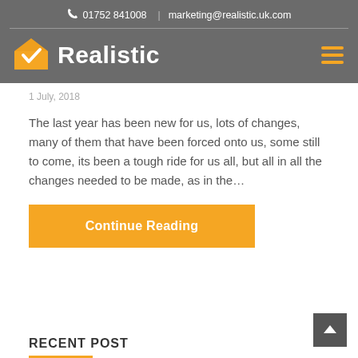01752 841008 | marketing@realistic.uk.com
[Figure (logo): Realistic logo with orange house checkmark icon and white bold text 'Realistic' on grey background]
1 July, 2018
The last year has been new for us, lots of changes, many of them that have been forced onto us, some still to come, its been a tough ride for us all, but all in all the changes needed to be made, as in the…
Continue Reading
RECENT POST